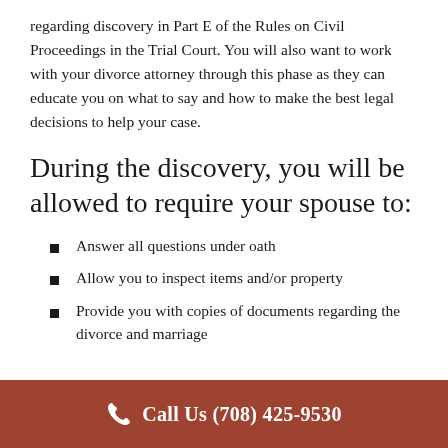regarding discovery in Part E of the Rules on Civil Proceedings in the Trial Court. You will also want to work with your divorce attorney through this phase as they can educate you on what to say and how to make the best legal decisions to help your case.
During the discovery, you will be allowed to require your spouse to:
Answer all questions under oath
Allow you to inspect items and/or property
Provide you with copies of documents regarding the divorce and marriage
Call Us (708) 425-9530